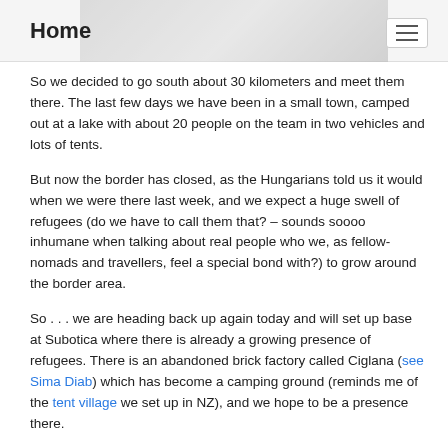Home
So we decided to go south about 30 kilometers and meet them there. The last few days we have been in a small town, camped out at a lake with about 20 people on the team in two vehicles and lots of tents.
But now the border has closed, as the Hungarians told us it would when we were there last week, and we expect a huge swell of refugees (do we have to call them that? – sounds soooo inhumane when talking about real people who we, as fellow-nomads and travellers, feel a special bond with?) to grow around the border area.
So . . . we are heading back up again today and will set up base at Subotica where there is already a growing presence of refugees. There is an abandoned brick factory called Ciglana (see Sima Diab) which has become a camping ground (reminds me of the tent village we set up in NZ), and we hope to be a presence there.
Many people are on their way to join us right now from all over Europe and our little team of crazy hippies could possibly double in size this week to 40.